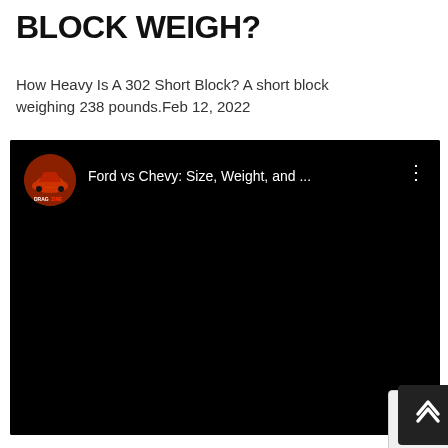BLOCK WEIGH?
How Heavy Is A 302 Short Block? A short block weighing 238 pounds.Feb 12, 2022
[Figure (screenshot): YouTube video thumbnail/player showing 'Ford vs Chevy: Size, Weight, and ...' with Dragzine channel icon, black video area, three-dot menu icon, table of contents widget, and scroll-to-top button]